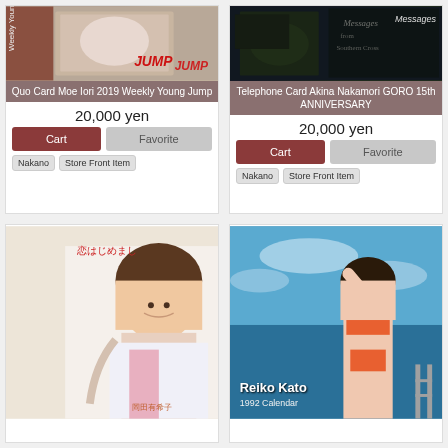[Figure (photo): Product image for Quo Card Moe Iori 2019 Weekly Young Jump - showing card with JUMP logo]
Quo Card Moe Iori 2019 Weekly Young Jump
20,000 yen
Cart
Favorite
Nakano
Store Front Item
[Figure (photo): Product image for Telephone Card Akina Nakamori GORO 15th ANNIVERSARY - dark image with Messages text]
Telephone Card Akina Nakamori GORO 15th ANNIVERSARY
20,000 yen
Cart
Favorite
Nakano
Store Front Item
[Figure (photo): Photo of young Japanese woman (Yukiko Okada) with Japanese text 恋はじめまして at top left]
[Figure (photo): Photo of Reiko Kato in orange bikini with blue sky, text reads Reiko Kato 1992 Calendar]